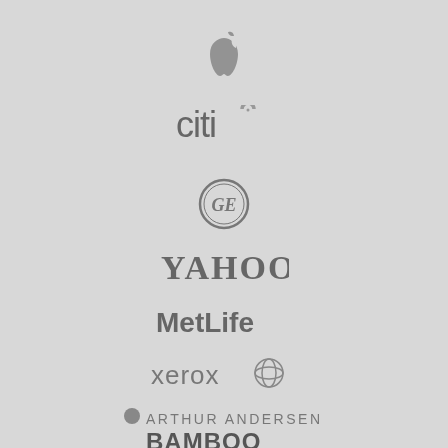[Figure (logo): Apple logo (grayscale)]
[Figure (logo): Citi logo (grayscale)]
[Figure (logo): GE (General Electric) circular logo (grayscale)]
[Figure (logo): Yahoo! logo (grayscale)]
[Figure (logo): MetLife logo (grayscale)]
[Figure (logo): Xerox logo with sphere icon (grayscale)]
[Figure (logo): Arthur Andersen logo with dot (grayscale)]
[Figure (logo): Bamboo logo (grayscale)]
[Figure (logo): BNSF logo (grayscale, partially visible)]